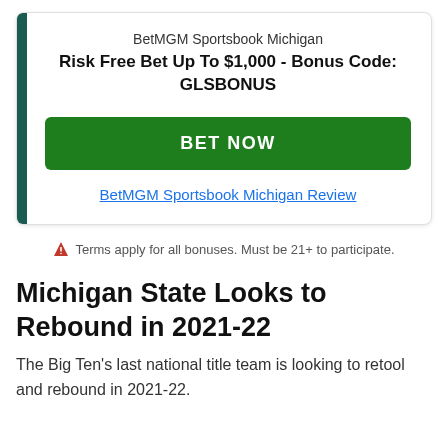[Figure (infographic): BetMGM Sportsbook Michigan promotional card with dark teal left bar, subtitle, bold title, green BET NOW button, and review link]
Terms apply for all bonuses. Must be 21+ to participate.
Michigan State Looks to Rebound in 2021-22
The Big Ten's last national title team is looking to retool and rebound in 2021-22.